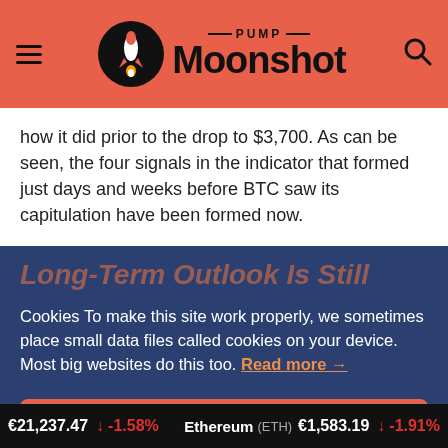PUMP Moonshot
how it did prior to the drop to $3,700. As can be seen, the four signals in the indicator that formed just days and weeks before BTC saw its capitulation have been formed now.
Long-Term Outlook Is Still
Cookies To make this site work properly, we sometimes place small data files called cookies on your device. Most big websites do this too. Read more →
✓ Accept
Cookies Settings ⚙
€21,237.47 ↓ -1.58% | Ethereum (ETH) €1,583.19 ↓ -1.91%